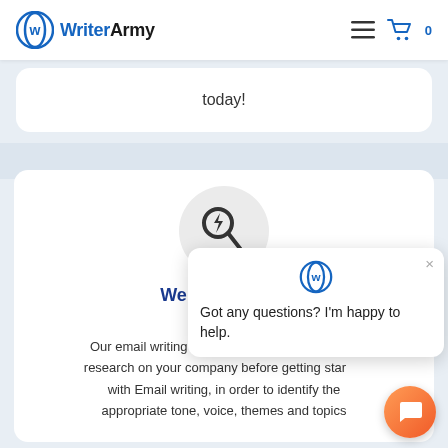WriterArmy
today!
[Figure (illustration): Magnifying glass with lightning bolt icon inside a light grey circle]
We Research... In...
Our email writing company conducts extensive research on your company before getting started with Email writing, in order to identify the appropriate tone, voice, themes and topics
[Figure (screenshot): Chat support widget with WriterArmy logo and message: Got any questions? I'm happy to help.]